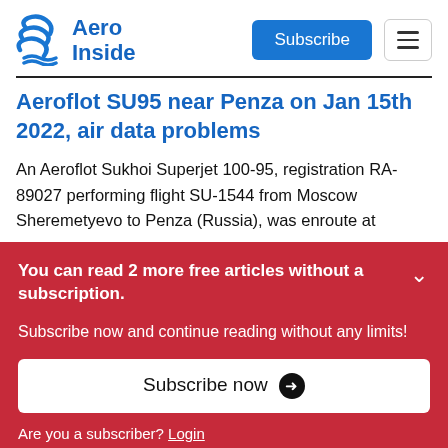Aero Inside — Subscribe button, hamburger menu
Aeroflot SU95 near Penza on Jan 15th 2022, air data problems
An Aeroflot Sukhoi Superjet 100-95, registration RA-89027 performing flight SU-1544 from Moscow Sheremetyevo to Penza (Russia), was enroute at
You can read 2 more free articles without a subscription.

Subscribe now and continue reading without any limits!

Subscribe now ➔

Are you a subscriber? Login